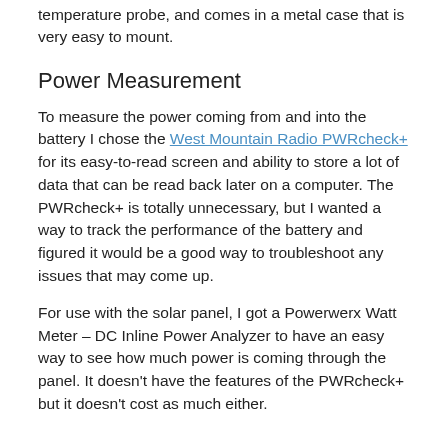temperature probe, and comes in a metal case that is very easy to mount.
Power Measurement
To measure the power coming from and into the battery I chose the West Mountain Radio PWRcheck+ for its easy-to-read screen and ability to store a lot of data that can be read back later on a computer. The PWRcheck+ is totally unnecessary, but I wanted a way to track the performance of the battery and figured it would be a good way to troubleshoot any issues that may come up.
For use with the solar panel, I got a Powerwerx Watt Meter – DC Inline Power Analyzer to have an easy way to see how much power is coming through the panel. It doesn't have the features of the PWRcheck+ but it doesn't cost as much either.